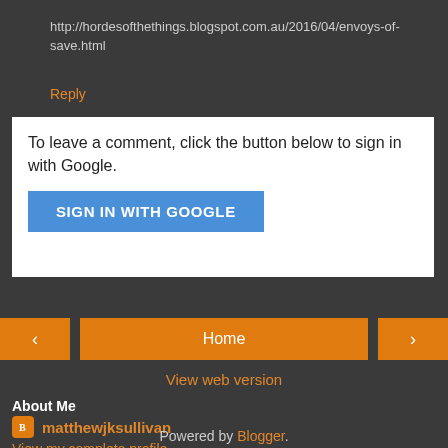http://hordesofthethings.blogspot.com.au/2016/04/envoys-of-save.html
Reply
To leave a comment, click the button below to sign in with Google.
[Figure (other): SIGN IN WITH GOOGLE button (blue)]
[Figure (other): Navigation row with previous (<), Home, and next (>) orange buttons]
View web version
About Me
matthewjksullivan
View my complete profile
Powered by Blogger.